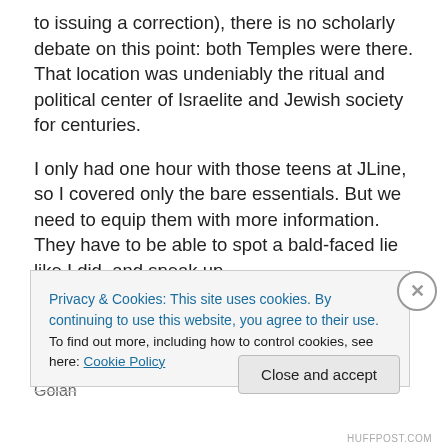to issuing a correction), there is no scholarly debate on this point: both Temples were there. That location was undeniably the ritual and political center of Israelite and Jewish society for centuries.
I only had one hour with those teens at JLine, so I covered only the bare essentials. But we need to equip them with more information. They have to be able to spot a bald-faced lie like I did, and speak up.
We have to send them to Israel, and not merely on fun tours of the clubs of Tel Aviv and wineries in the Golan
Privacy & Cookies: This site uses cookies. By continuing to use this website, you agree to their use.
To find out more, including how to control cookies, see here: Cookie Policy
Close and accept